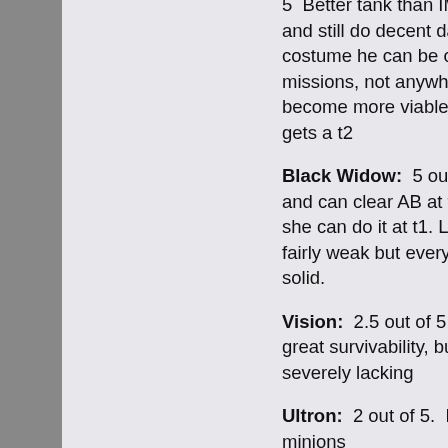5  Better tank than IM, can survive better and still do decent damage. With costume he can be competitive in regular missions, not anywhere else. He might become more viable when Hulkbuster gets a t2
Black Widow:  5 out of 5.  very useful and can clear AB at t2, with crazy skill she can do it at t1. Leadership ability is fairly weak but everything else is very solid.
Vision:  2.5 out of 5  ha iframes and has great survivability, but damage is severely lacking
Ultron:  2 out of 5.  Not very good.  has minions